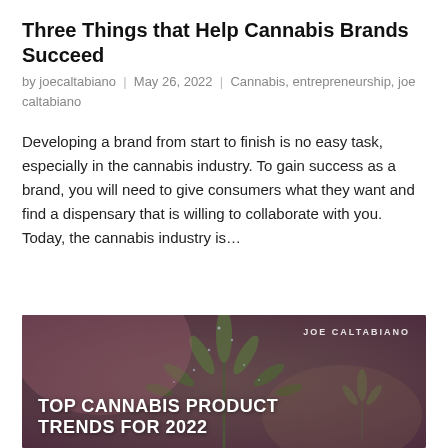Three Things that Help Cannabis Brands Succeed
by joecaltabiano  |  May 26, 2022  |  Cannabis, entrepreneurship, joe caltabiano
Developing a brand from start to finish is no easy task, especially in the cannabis industry. To gain success as a brand, you will need to give consumers what they want and find a dispensary that is willing to collaborate with you. Today, the cannabis industry is…
[Figure (photo): Cannabis leaf close-up photo with dark purple/green tones. Text overlay reads 'JOE CALTABIANO' in top right, and 'TOP CANNABIS PRODUCT TRENDS FOR 2022' in bold white at the bottom.]